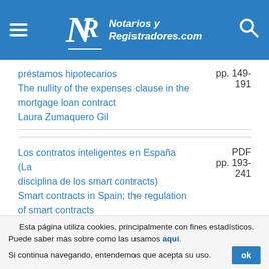Notarios y Registradores.com
préstamos hipotecarios
The nullity of the expenses clause in the mortgage loan contract
Laura Zumaquero Gil
pp. 149-191
Los contratos inteligentes en España (La disciplina de los smart contracts)
Smart contracts in Spain; the regulation of smart contracts
PDF pp. 193-241
Esta página utiliza cookies, principalmente con fines estadísticos. Puede saber más sobre como las usamos aquí. Si continua navegando, entendemos que acepta su uso.